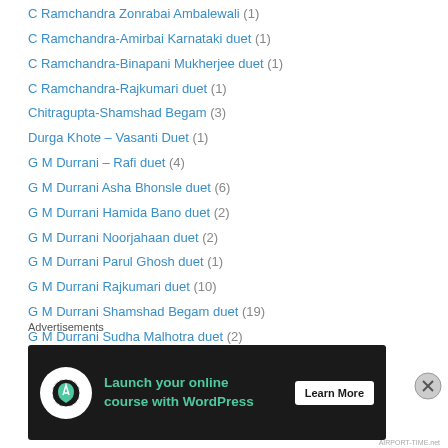C Ramchandra Zohrabai Ambalewali (1)
C Ramchandra-Amirbai Karnataki duet (1)
C Ramchandra-Binapani Mukherjee duet (1)
C Ramchandra-Rajkumari duet (1)
Chitragupta-Shamshad Begam (3)
Durga Khote – Vasanti Duet (1)
G M Durrani – Rafi duet (4)
G M Durrani Asha Bhonsle duet (6)
G M Durrani Hamida Bano duet (2)
G M Durrani Noorjahaan duet (2)
G M Durrani Parul Ghosh duet (1)
G M Durrani Rajkumari duet (10)
G M Durrani Shamshad Begam duet (19)
G M Durrani Sudha Malhotra duet (2)
G M Durrani Suraiyya duet (3)
G M Durrani Zeenat Begam duet (1)
G M Durrani Zohrabai Ambalewnali duet (6)
Advertisements
[Figure (infographic): Advertisement banner: Launch your online course with WordPress – Learn More button on dark background]